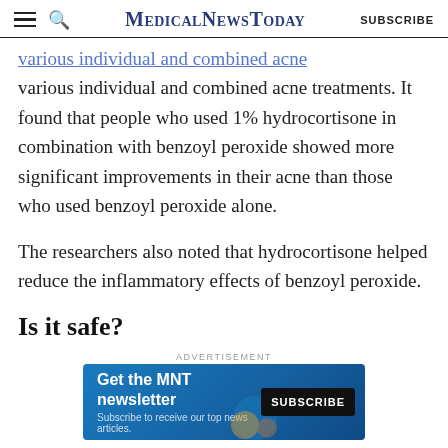MedicalNewsToday | SUBSCRIBE
various individual and combined acne treatments. It found that people who used 1% hydrocortisone in combination with benzoyl peroxide showed more significant improvements in their acne than those who used benzoyl peroxide alone.
The researchers also noted that hydrocortisone helped reduce the inflammatory effects of benzoyl peroxide.
Is it safe?
The Food and Drug Administration (FDA) have
[Figure (other): Advertisement banner for MNT newsletter: 'Get the MNT newsletter. Subscribe to receive our top news articles.' with a SUBSCRIBE button.]